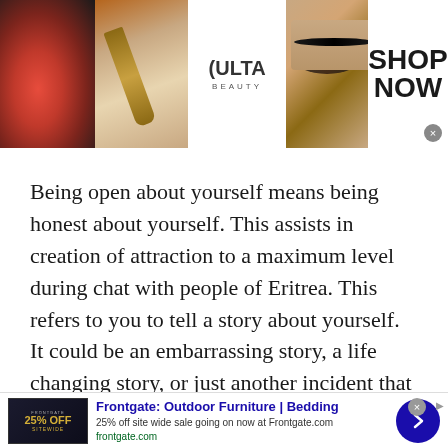[Figure (photo): Ulta Beauty advertisement banner showing makeup photos (lips, brush, eye), Ulta Beauty logo, and a SHOP NOW call to action]
Being open about yourself means being honest about yourself. This assists in creation of attraction to a maximum level during chat with people of Eritrea. This refers to you to tell a story about yourself. It could be an embarrassing story, a life changing story, or just another incident that happened to you.
You must be wondering how come by telling a story
[Figure (photo): Frontgate: Outdoor Furniture | Bedding advertisement. 25% off site wide sale going on now at Frontgate.com. frontgate.com]
Frontgate: Outdoor Furniture | Bedding
25% off site wide sale going on now at Frontgate.com
frontgate.com